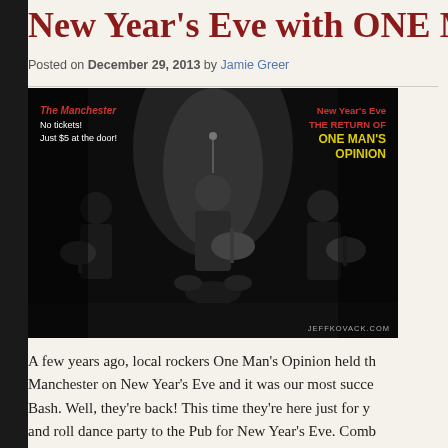New Year's Eve with ONE MAN'S...
Posted on December 29, 2013 by Jamie Greer
[Figure (photo): Black and white concert photo of band One Man's Opinion performing on stage. Three musicians visible playing guitars. Overlay text on left reads: The Manchester, No tickets! Just $5 at the door! Overlay on right reads: New Year's Eve, THE RETURN OF ONE MAN'S OPINION. Photo credit: JEFFKOVACK.COM]
A few years ago, local rockers One Man's Opinion held th... Manchester on New Year's Eve and it was our most succe... Bash. Well, they're back! This time they're here just for y... and roll dance party to the Pub for New Year's Eve. Comb... and love with their own 89X singles, you'll be dancing all...